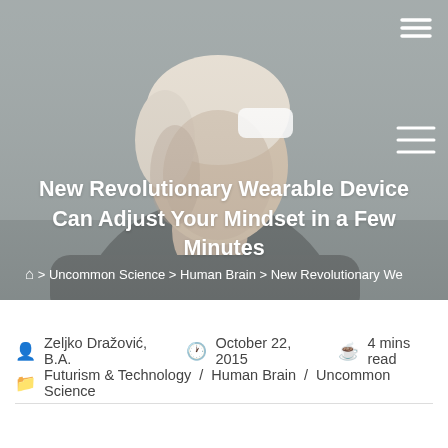[Figure (photo): Woman with a wearable device patch on her forehead, gray background, website hero image with hamburger menu icon in top right corner]
New Revolutionary Wearable Device Can Adjust Your Mindset in a Few Minutes
🏠 > Uncommon Science > Human Brain > New Revolutionary We
Zeljko Dražović, B.A.   October 22, 2015   4 mins read
Futurism & Technology / Human Brain / Uncommon Science